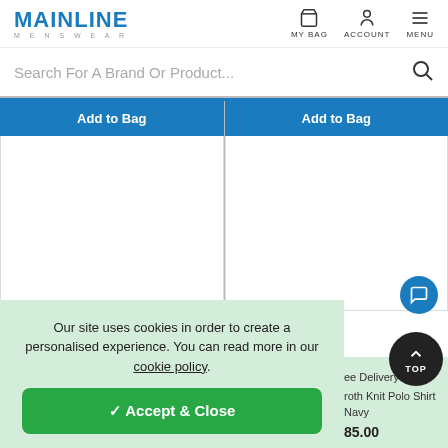MAINLINE MENSWEAR — MY BAG | ACCOUNT | MENU
Search For A Brand Or Product...
Add to Bag
Add to Bag
[Figure (screenshot): Two product image placeholder columns, white background]
Our site uses cookies in order to create a personalised experience. You can read more in our cookie policy.
✓ Accept & Close
ee Delivery
roth Knit Polo Shirt Navy
85.00